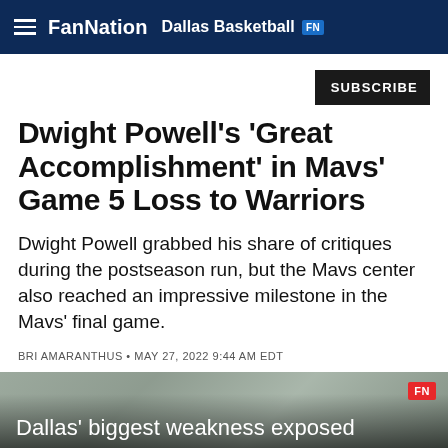FanNation  Dallas Basketball FN
SUBSCRIBE
Dwight Powell's 'Great Accomplishment' in Mavs' Game 5 Loss to Warriors
Dwight Powell grabbed his share of critiques during the postseason run, but the Mavs center also reached an impressive milestone in the Mavs' final game.
BRI AMARANTHUS • MAY 27, 2022 9:44 AM EDT
[Figure (screenshot): Video thumbnail with text overlay reading 'Dallas' biggest weakness exposed' with FN badge in upper right]